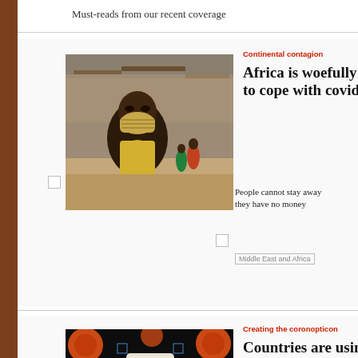Must-reads from our recent coverage
[Figure (photo): Man wearing face mask in an African city street with shanty buildings and people in background]
Continental contagion
Africa is woefully to cope with covid
People cannot stay away they have no money
Middle East and Africa
[Figure (illustration): Dark background with orange coronavirus particles and a hand holding a phone with an eye visible, surveillance theme]
Creating the coronopticon
Countries are using data networks to k the pandemic